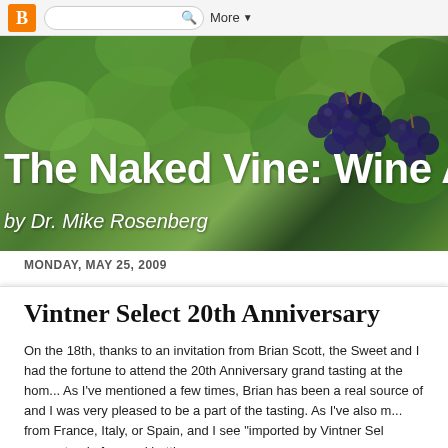[Figure (screenshot): Blogger navigation bar with orange B logo, search box, and More dropdown]
[Figure (photo): Banner header photo of grape vines with clusters of dark purple grapes and green leaves, with overlay text 'The Naked Vine: Wine Ad' and 'by Dr. Mike Rosenberg']
MONDAY, MAY 25, 2009
Vintner Select 20th Anniversary
On the 18th, thanks to an invitation from Brian Scott, the Sweet and I had the fortune to attend the 20th Anniversary grand tasting at the home of Vintner Select. As I've mentioned a few times, Brian has been a real source of great wine advice and I was very pleased to be a part of the tasting. As I've also mentioned, if a wine from France, Italy, or Spain, and I see "imported by Vintner Sel... I'm virtually guaranteed of a good bottle.
They present feature over 30 different wine distributors and f...